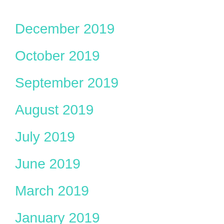December 2019
October 2019
September 2019
August 2019
July 2019
June 2019
March 2019
January 2019
December 2018
November 2018
October 2018